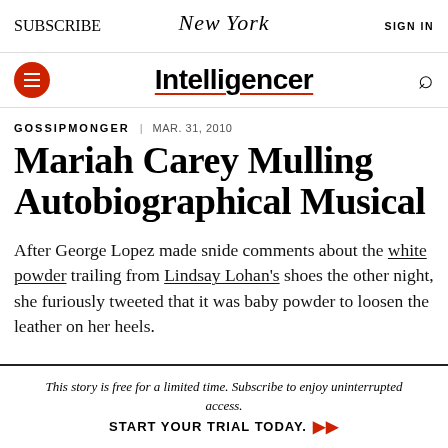SUBSCRIBE | New York | SIGN IN
Intelligencer
GOSSIPMONGER | MAR. 31, 2010
Mariah Carey Mulling Autobiographical Musical
After George Lopez made snide comments about the white powder trailing from Lindsay Lohan's shoes the other night, she furiously tweeted that it was baby powder to loosen the leather on her heels.
This story is free for a limited time. Subscribe to enjoy uninterrupted access. START YOUR TRIAL TODAY.